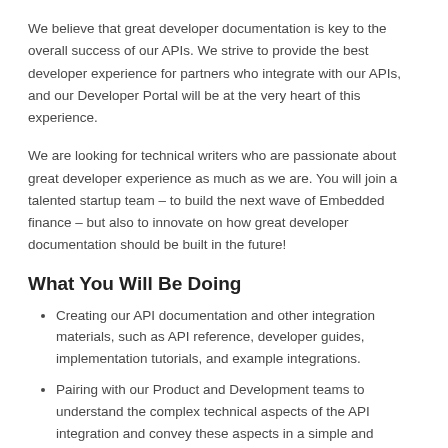We believe that great developer documentation is key to the overall success of our APIs. We strive to provide the best developer experience for partners who integrate with our APIs, and our Developer Portal will be at the very heart of this experience.
We are looking for technical writers who are passionate about great developer experience as much as we are. You will join a talented startup team – to build the next wave of Embedded finance – but also to innovate on how great developer documentation should be built in the future!
What You Will Be Doing
Creating our API documentation and other integration materials, such as API reference, developer guides, implementation tutorials, and example integrations.
Pairing with our Product and Development teams to understand the complex technical aspects of the API integration and convey these aspects in a simple and straightforward way.
Peer-reviewing materials provided by your colleagues